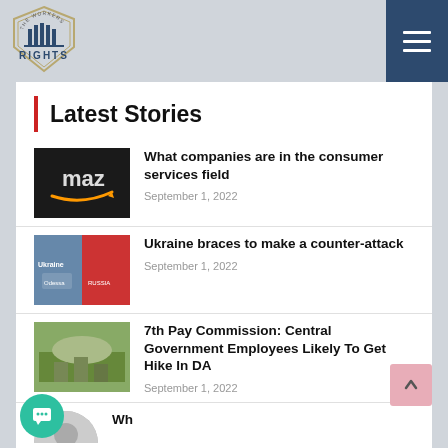[Figure (logo): The Workers Rights shield logo with columns icon and text RIGHTS]
The Workers Rights — site header with hamburger menu button
Latest Stories
[Figure (photo): Amazon storefront dark background with arrow logo]
What companies are in the consumer services field
September 1, 2022
[Figure (photo): Ukraine/Russia flags war imagery with text RUSSIA]
Ukraine braces to make a counter-attack
September 1, 2022
[Figure (photo): Hands holding Indian currency notes]
7th Pay Commission: Central Government Employees Likely To Get Hike In DA
September 1, 2022
[Figure (photo): Partial circular portrait photo at bottom]
Partial headline visible at bottom, cut off